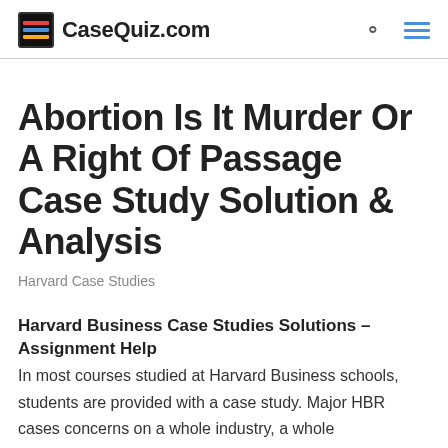CaseQuiz.com
Abortion Is It Murder Or A Right Of Passage Case Study Solution & Analysis
Harvard Case Studies
Harvard Business Case Studies Solutions – Assignment Help
In most courses studied at Harvard Business schools, students are provided with a case study. Major HBR cases concerns on a whole industry, a whole